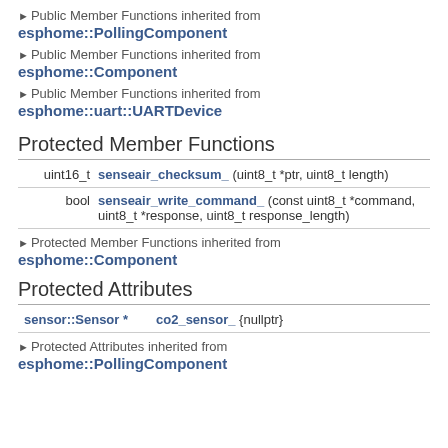▶ Public Member Functions inherited from esphome::PollingComponent
▶ Public Member Functions inherited from esphome::Component
▶ Public Member Functions inherited from esphome::uart::UARTDevice
Protected Member Functions
|  |  |
| --- | --- |
| uint16_t | senseair_checksum_ (uint8_t *ptr, uint8_t length) |
| bool | senseair_write_command_ (const uint8_t *command, uint8_t *response, uint8_t response_length) |
▶ Protected Member Functions inherited from esphome::Component
Protected Attributes
|  |  |
| --- | --- |
| sensor::Sensor * | co2_sensor_  {nullptr} |
▶ Protected Attributes inherited from esphome::PollingComponent